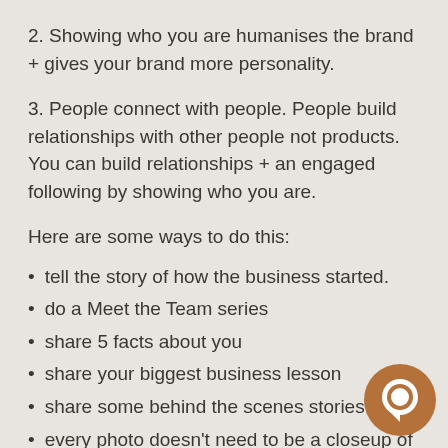2. Showing who you are humanises the brand + gives your brand more personality.
3. People connect with people. People build relationships with other people not products. You can build relationships + an engaged following by showing who you are.
Here are some ways to do this:
tell the story of how the business started.
do a Meet the Team series
share 5 facts about you
share your biggest business lesson
share some behind the scenes stories
every photo doesn't need to be a closeup of your face. It could be from a distance or over your